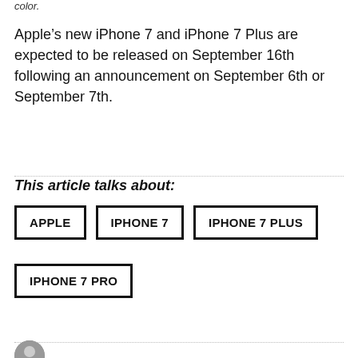color.
Apple’s new iPhone 7 and iPhone 7 Plus are expected to be released on September 16th following an announcement on September 6th or September 7th.
This article talks about:
APPLE
IPHONE 7
IPHONE 7 PLUS
IPHONE 7 PRO
[Figure (photo): Author avatar photo, circular, showing a man in a suit]